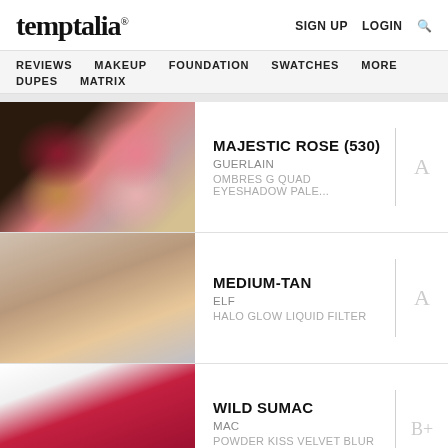temptalia® | SIGN UP  LOGIN  🔍
REVIEWS  MAKEUP  FOUNDATION  SWATCHES  MORE  DUPES  MATRIX
MAJESTIC ROSE (530) | GUERLAIN | OMBRES G QUAD EYESHADOW PALE... | A
MEDIUM-TAN | ELF | HALO GLOW LIQUID FILTER | A
WILD SUMAC | MAC | POWDER KISS VELVET BLUR SLIM STI... | B+
HOT PAPRIKA | MAC | [partial, dimmed]